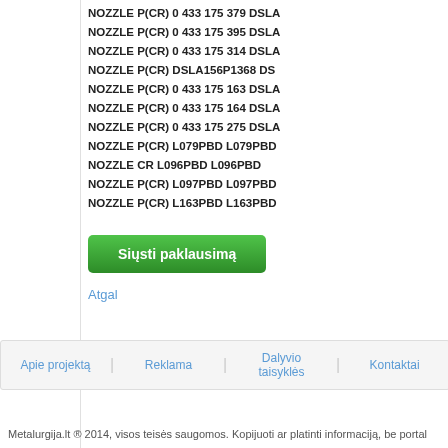NOZZLE P(CR) 0 433 175 379 DSLA
NOZZLE P(CR) 0 433 175 395 DSLA
NOZZLE P(CR) 0 433 175 314 DSLA
NOZZLE P(CR) DSLA156P1368 DS
NOZZLE P(CR) 0 433 175 163 DSLA
NOZZLE P(CR) 0 433 175 164 DSLA
NOZZLE P(CR) 0 433 175 275 DSLA
NOZZLE P(CR) L079PBD L079PBD
NOZZLE CR L096PBD L096PBD
NOZZLE P(CR) L097PBD L097PBD
NOZZLE P(CR) L163PBD L163PBD
Siųsti paklausimą
Atgal
Apie projektą | Reklama | Dalyvio taisyklės | Kontaktai
Metalurgija.lt ® 2014, visos teisės saugomos. Kopijuoti ar platinti informaciją, be portal